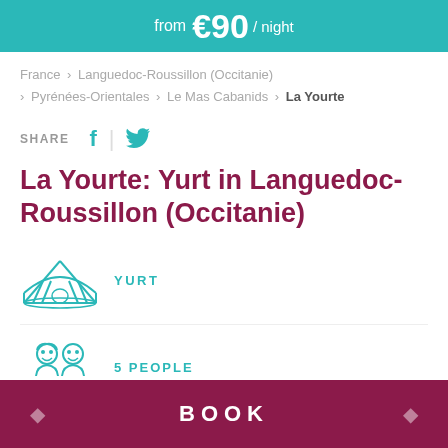from €90 / night
France > Languedoc-Roussillon (Occitanie) > Pyrénées-Orientales > Le Mas Cabanids > La Yourte
SHARE
La Yourte: Yurt in Languedoc-Roussillon (Occitanie)
[Figure (illustration): Yurt icon outline in teal]
YURT
[Figure (illustration): Two people icon outlines in teal]
5 PEOPLE
BOOK